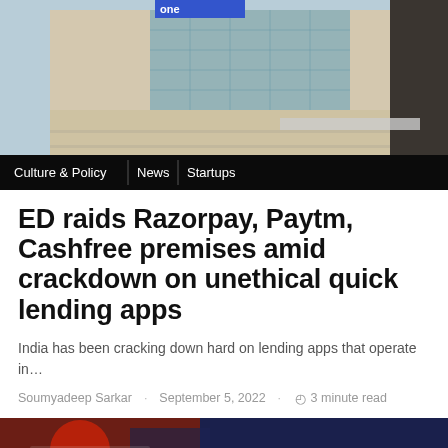[Figure (photo): Exterior of a multi-story commercial building with glass windows and beige/tan facade, with blue branding at top. Navigation bar overlay at bottom with categories: Culture & Policy, News, Startups.]
ED raids Razorpay, Paytm, Cashfree premises amid crackdown on unethical quick lending apps
India has been cracking down hard on lending apps that operate in…
Soumyadeep Sarkar · September 5, 2022 · 3 minute read
[Figure (photo): Close-up photo of a smartphone or device, partially visible, with red and dark tones.]